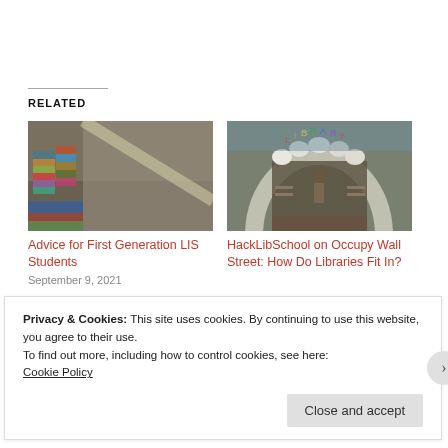RELATED
[Figure (photo): Outdoor scene with books stacked and arranged against a stone wall, colorful book spines visible]
Advice for First Generation LIS Students
September 9, 2021
[Figure (photo): Tunnel-shaped tent structure with 'LIBRARY' sign in colorful letters, person standing inside surrounded by books and shelves]
HackLibSchool on Occupy Wall Street: How Do Libraries Fit In?
Privacy & Cookies: This site uses cookies. By continuing to use this website, you agree to their use.
To find out more, including how to control cookies, see here:
Cookie Policy
Close and accept